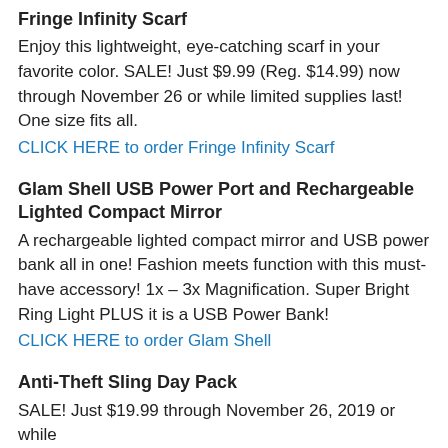Fringe Infinity Scarf
Enjoy this lightweight, eye-catching scarf in your favorite color. SALE! Just $9.99 (Reg. $14.99) now through November 26 or while limited supplies last! One size fits all.
CLICK HERE to order Fringe Infinity Scarf
Glam Shell USB Power Port and Rechargeable Lighted Compact Mirror
A rechargeable lighted compact mirror and USB power bank all in one! Fashion meets function with this must-have accessory! 1x – 3x Magnification. Super Bright Ring Light PLUS it is a USB Power Bank!
CLICK HERE to order Glam Shell
Anti-Theft Sling Day Pack
SALE! Just $19.99 through November 26, 2019 or while